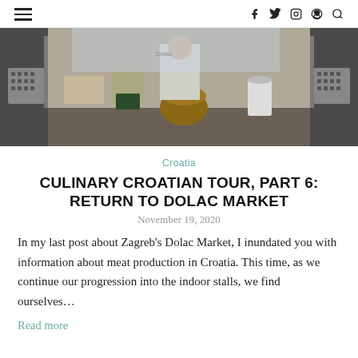≡  f  twitter  instagram  pinterest  search
[Figure (photo): Market stall scene at Dolac Market in Zagreb, Croatia, showing vendor stalls with boxes and merchandise in outdoor setting]
Croatia
CULINARY CROATIAN TOUR, PART 6: RETURN TO DOLAC MARKET
November 19, 2020
In my last post about Zagreb's Dolac Market, I inundated you with information about meat production in Croatia. This time, as we continue our progression into the indoor stalls, we find ourselves…
Read more